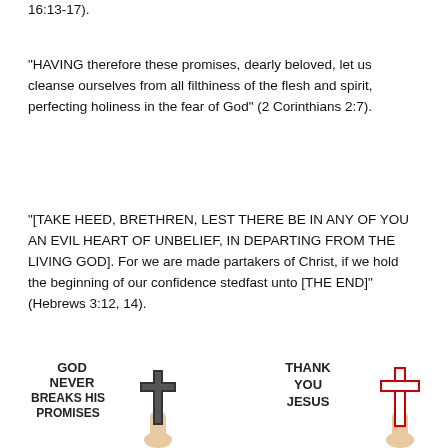16:13-17).
“HAVING therefore these promises, dearly beloved, let us cleanse ourselves from all filthiness of the flesh and spirit, perfecting holiness in the fear of God” (2 Corinthians 2:7).
“[TAKE HEED, BRETHREN, LEST THERE BE IN ANY OF YOU AN EVIL HEART OF UNBELIEF, IN DEPARTING FROM THE LIVING GOD]. For we are made partakers of Christ, if we hold the beginning of our confidence stedfast unto [THE END]” (Hebrews 3:12, 14).
[Figure (illustration): Two side-by-side religious illustrations: left shows bold text 'GOD NEVER BREAKS HIS PROMISES' with a hand holding a dark cross; right shows bold text 'THANK YOU JESUS' with a hand holding a red cross outline.]